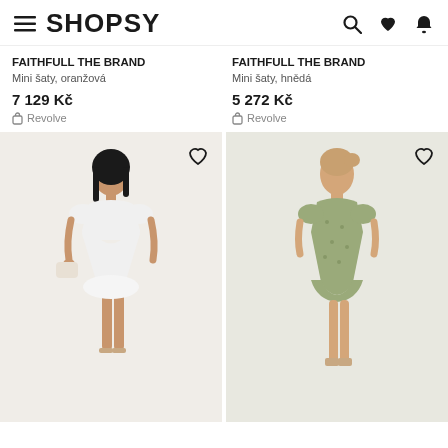SHOPSY
FAITHFULL THE BRAND
Mini šaty, oranžová
7 129 Kč
Revolve
FAITHFULL THE BRAND
Mini šaty, hnědá
5 272 Kč
Revolve
[Figure (photo): Woman wearing white mini dress with cutout detail, puff sleeves, holding a white bag]
[Figure (photo): Woman wearing sage green floral mini dress with puff sleeves]